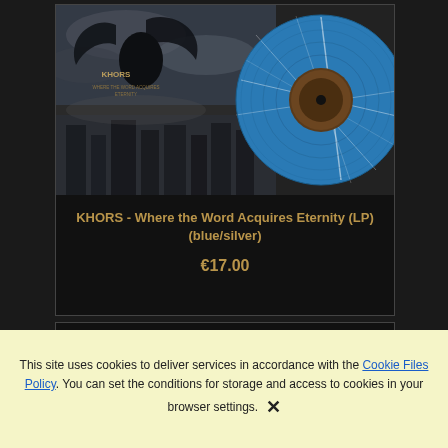[Figure (photo): Album cover and blue/silver marbled vinyl LP record for KHORS - Where the Word Acquires Eternity. The album cover shows a dark fantasy artwork with a large bird/raven with spread wings against a stormy sky, with buildings below. The vinyl record is blue and silver marbled/splattered color.]
KHORS - Where the Word Acquires Eternity (LP)(blue/silver)
€17.00
This site uses cookies to deliver services in accordance with the Cookie Files Policy. You can set the conditions for storage and access to cookies in your browser settings. ✕